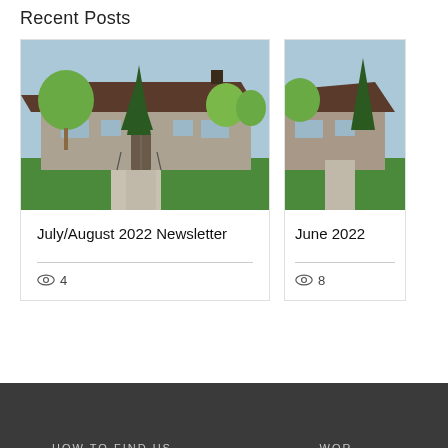Recent Posts
[Figure (photo): Photo of a single-story brick building with a dark brown roof, tall evergreen trees, green lawn, and a concrete walkway with steps and railings. Spring trees in background.]
July/August 2022 Newsletter
4 views
[Figure (photo): Partially visible photo of same building — same brick building with dark roof and evergreen tree on right side, partially cropped.]
June 2022
8 views
HOW TO FIND US   WOR...